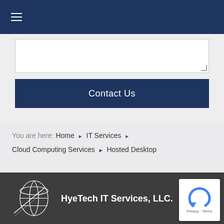[Figure (screenshot): Navigation bar with hamburger menu icon (three white horizontal lines) on dark navy blue background]
[Figure (screenshot): Web form area with a textarea input box and a dark navy 'Contact Us' button below it, on light gray background]
You are here: Home ▶ IT Services ▶ Cloud Computing Services ▶ Hosted Desktop
[Figure (logo): HyeTech IT Services, LLC. logo: globe/sphere wireframe icon in white on dark gray footer background, company name in white bold text]
[Figure (screenshot): reCAPTCHA widget with Google logo and 'Privacy · Terms' text]